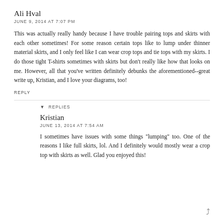Ali Hval
JUNE 9, 2014 AT 7:07 PM
This was actually really handy because I have trouble pairing tops and skirts with each other sometimes! For some reason certain tops like to lump under thinner material skirts, and I only feel like I can wear crop tops and tie tops with my skirts. I do those tight T-shirts sometimes with skirts but don't really like how that looks on me. However, all that you've written definitely debunks the aforementioned--great write up, Kristian, and I love your diagrams, too!
REPLY
REPLIES
Kristian
JUNE 13, 2014 AT 7:54 AM
I sometimes have issues with some things "lumping" too. One of the reasons I like full skirts, lol. And I definitely would mostly wear a crop top with skirts as well. Glad you enjoyed this!